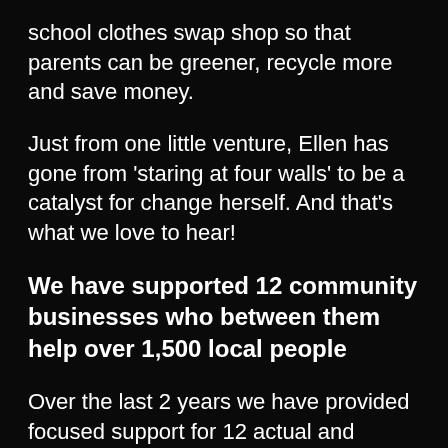school clothes swap shop so that parents can be greener, recycle more and save money.
Just from one little venture, Ellen has gone from 'staring at four walls' to be a catalyst for change herself. And that's what we love to hear!
We have supported 12 community businesses who between them help over 1,500 local people
Over the last 2 years we have provided focused support for 12 actual and